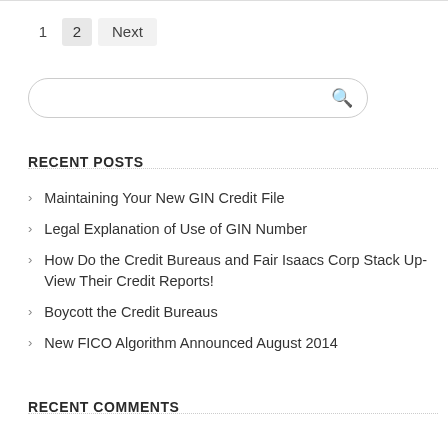1  2  Next
RECENT POSTS
Maintaining Your New GIN Credit File
Legal Explanation of Use of GIN Number
How Do the Credit Bureaus and Fair Isaacs Corp Stack Up- View Their Credit Reports!
Boycott the Credit Bureaus
New FICO Algorithm Announced August 2014
RECENT COMMENTS